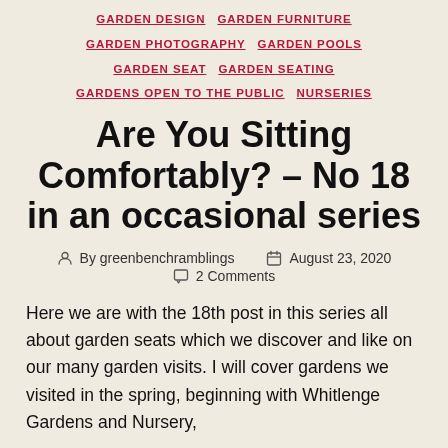GARDEN DESIGN  GARDEN FURNITURE  GARDEN PHOTOGRAPHY  GARDEN POOLS  GARDEN SEAT  GARDEN SEATING  GARDENS OPEN TO THE PUBLIC  NURSERIES
Are You Sitting Comfortably? – No 18 in an occasional series
By greenbenchramblings  August 23, 2020  2 Comments
Here we are with the 18th post in this series all about garden seats which we discover and like on our many garden visits. I will cover gardens we visited in the spring, beginning with Whitlenge Gardens and Nursery,